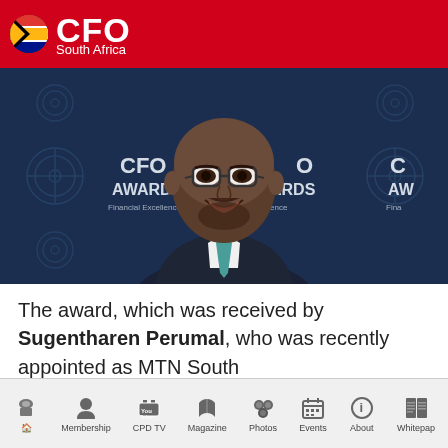CFO South Africa
[Figure (photo): Man in suit and teal tie smiling in front of CFO Awards Financial Excellence backdrop]
The award, which was received by Sugentharen Perumal, who was recently appointed as MTN South
Home | Membership | CPD TV | Magazine | Photos | Events | About | Whitepaper